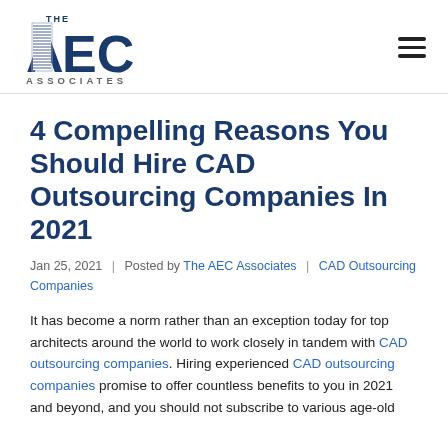[Figure (logo): The AEC Associates logo — bold dark blue AEC letters with striped A, and ASSOCIATES text below]
4 Compelling Reasons You Should Hire CAD Outsourcing Companies In 2021
Jan 25, 2021  |  Posted by The AEC Associates  |  CAD Outsourcing Companies
It has become a norm rather than an exception today for top architects around the world to work closely in tandem with CAD outsourcing companies. Hiring experienced CAD outsourcing companies promise to offer countless benefits to you in 2021 and beyond, and you should not subscribe to various age-old